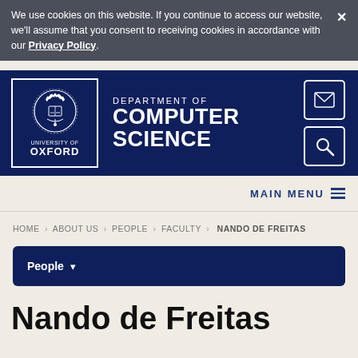We use cookies on this website. If you continue to access our website, we'll assume that you consent to receiving cookies in accordance with our Privacy Policy.
[Figure (logo): University of Oxford Department of Computer Science logo with Oxford crest and department name]
MAIN MENU
HOME > ABOUT US > PEOPLE > FACULTY > NANDO DE FREITAS
People
Nando de Freitas